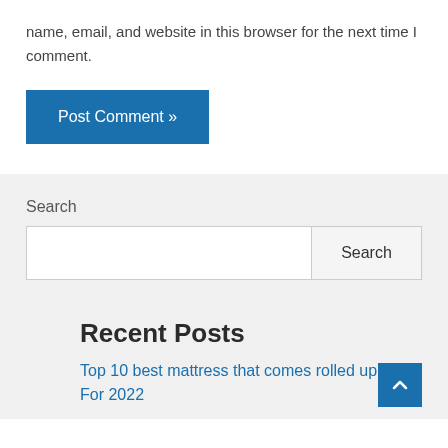name, email, and website in this browser for the next time I comment.
Post Comment »
Search
Search
Recent Posts
Top 10 best mattress that comes rolled up For 2022